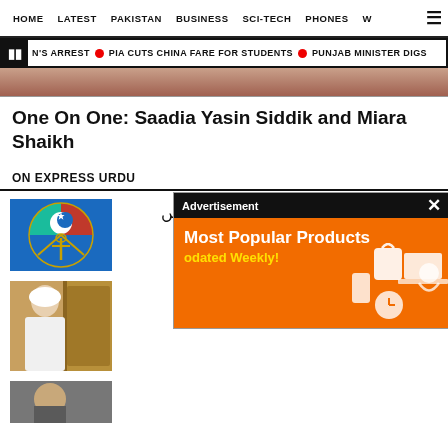HOME  LATEST  PAKISTAN  BUSINESS  SCI-TECH  PHONES  W
NS ARREST  •  PIA CUTS CHINA FARE FOR STUDENTS  •  PUNJAB MINISTER DIGS
[Figure (photo): Partial image strip showing a photo at top]
One On One: Saadia Yasin Siddik and Miara Shaikh
ON EXPRESS URDU
[Figure (photo): Pakistani military joint services emblem logo on blue background]
آزاد کشمیر میں پاک فوج کی گاڑی نہ‌رمیں
ہ 9 اہلکار شہید ہ
[Figure (photo): Person in white looking through doorway]
یبوں کی تنخواہ
ہدورسہ بھی کم
[Figure (photo): Partial image at bottom]
[Figure (advertisement): Advertisement overlay: Most Popular Products Updated Weekly! on orange background]